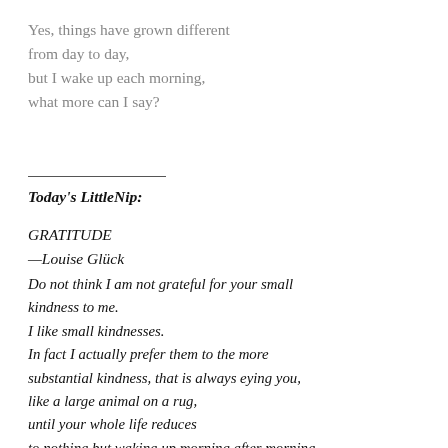Yes, things have grown different
from day to day,
but I wake up each morning,
what more can I say?
Today's LittleNip:
GRATITUDE
—Louise Glück
Do not think I am not grateful for your small kindness to me.
I like small kindnesses.
In fact I actually prefer them to the more substantial kindness, that is always eying you,
like a large animal on a rug,
until your whole life reduces
to nothing but waking up morning after morning
cramped, and the bright sun shining on its tusks.